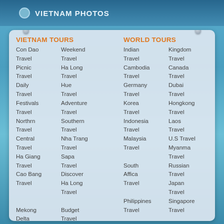VIETNAM PHOTOS
VIETNAM TOURS
Con Dao Travel
Weekend Travel
Picnic Travel
Ha Long Travel
Daily Travel
Hue Travel
Festivals Travel
Adventure Travel
Northrn Travel
Southern Travel
Central Travel
Nha Trang Travel
Ha Giang Travel
Sapa Travel
Cao Bang Travel
Discover Travel
Ha Long Travel
Mekong Delta Travel
Budget Travel
WORLD TOURS
Indian Travel
Kingdom Travel
Cambodia Travel
Canada Travel
Germany Travel
Dubai Travel
Korea Travel
Hongkong Travel
Indonesia Travel
Laos Travel
Malaysia Travel
U.S Travel
Myanma Travel
South Affica Travel
Russian Travel
Japan Travel
Philippines Travel
Singapore Travel